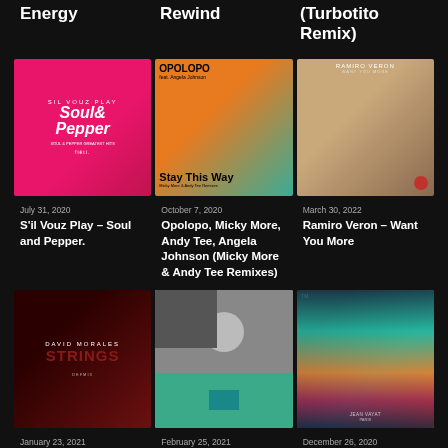Energy
Rewind
(Turbotito Remix)
[Figure (illustration): Soul and Pepper album art, pink/red background with stylized text]
[Figure (illustration): Opolopo Stay This Way album art, orange and teal with illustrated figure]
[Figure (illustration): Ramiro Veron album art, brown swirling abstract art]
July 31, 2020
S'il Vouz Play – Soul and Pepper.
October 7, 2020
Opolopo, Micky More, Andy Tee, Angela Johnson (Micky More & Andy Tee Remixes)
March 30, 2022
Ramiro Veron – Want You More
[Figure (illustration): David Morales Strings album art, dark red abstract]
[Figure (illustration): Moullinex Sara Tavares Minina album art, black and white collage with green element]
[Figure (illustration): Jean Vayat Shamanic Dance album art, colorful swirling abstract]
January 23, 2021
David Morales – Strings
February 25, 2021
Moullinex – Sara Tavares – Minina
December 26, 2020
Jean Vayat – Shamanic Dance